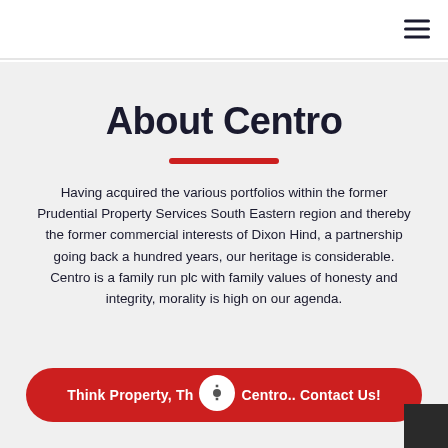About Centro
Having acquired the various portfolios within the former Prudential Property Services South Eastern region and thereby the former commercial interests of Dixon Hind, a partnership going back a hundred years, our heritage is considerable. Centro is a family run plc with family values of honesty and integrity, morality is high on our agenda.
Think Property, Think Centro.. Contact Us!